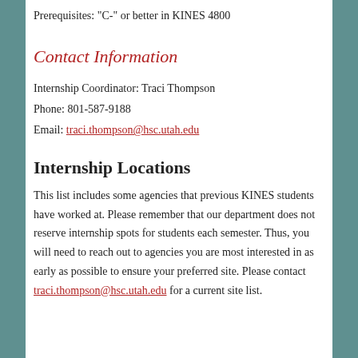Prerequisites: "C-" or better in KINES 4800
Contact Information
Internship Coordinator: Traci Thompson
Phone: 801-587-9188
Email: traci.thompson@hsc.utah.edu
Internship Locations
This list includes some agencies that previous KINES students have worked at. Please remember that our department does not reserve internship spots for students each semester. Thus, you will need to reach out to agencies you are most interested in as early as possible to ensure your preferred site. Please contact traci.thompson@hsc.utah.edu for a current site list.